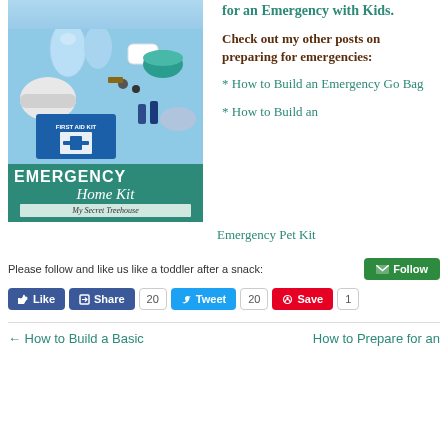[Figure (photo): Emergency Home Kit with first aid supplies photo and teal banner reading EMERGENCY Home Kit My Secret Treehouse]
for an Emergency with Kids.
Check out my other posts on preparing for emergencies:
* How to Build an Emergency Go Bag
* How to Build an Emergency Pet Kit
Please follow and like us like a toddler after a snack:
Follow | Like | Share 20 | Tweet 20 | Save 1
← How to Build a Basic | How to Prepare for an